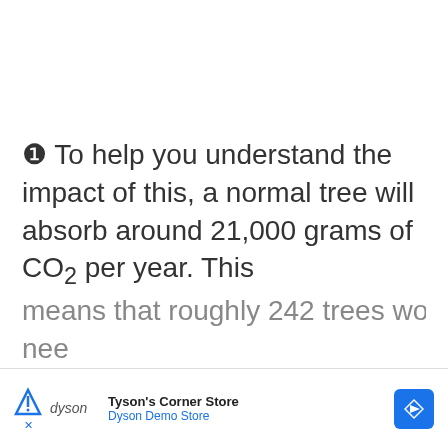❶ To help you understand the impact of this, a normal tree will absorb around 21,000 grams of CO₂ per year. This means that roughly 242 trees would be needed...
[Figure (other): Advertisement banner for Dyson's Corner Store / Dyson Demo Store with Dyson logo, store name text, and a blue diamond navigation arrow icon]